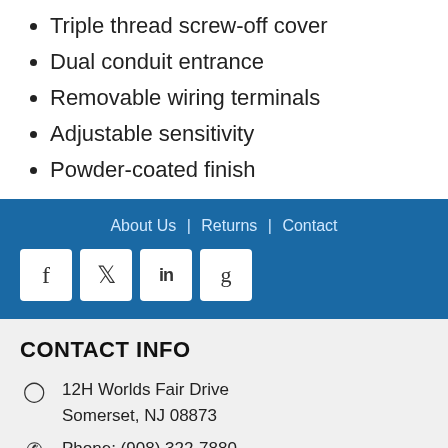Triple thread screw-off cover
Dual conduit entrance
Removable wiring terminals
Adjustable sensitivity
Powder-coated finish
About Us | Returns | Contact
CONTACT INFO
12H Worlds Fair Drive
Somerset, NJ 08873
Phone: (908) 322-7880